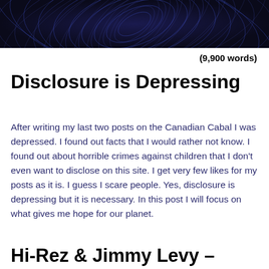[Figure (photo): Dark swirling concentric circular light trails on a deep navy/black background, resembling a long-exposure star trail or spiral galaxy photo.]
(9,900 words)
Disclosure is Depressing
After writing my last two posts on the Canadian Cabal I was depressed. I found out facts that I would rather not know. I found out about horrible crimes against children that I don't even want to disclose on this site. I get very few likes for my posts as it is. I guess I scare people. Yes, disclosure is depressing but it is necessary. In this post I will focus on what gives me hope for our planet.
Hi-Rez & Jimmy Levy –